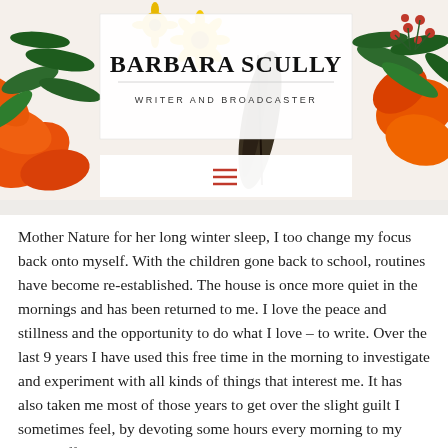[Figure (photo): Floral header image with orange lilies, yellow daisies, green leaves, red berries, and dark feathers on a white background. Contains the site name and subtitle overlay.]
BARBARA SCULLY
WRITER AND BROADCASTER
Mother Nature for her long winter sleep, I too change my focus back onto myself. With the children gone back to school, routines have become re-established. The house is once more quiet in the mornings and has been returned to me. I love the peace and stillness and the opportunity to do what I love – to write. Over the last 9 years I have used this free time in the morning to investigate and experiment with all kinds of things that interest me. It has also taken me most of those years to get over the slight guilt I sometimes feel, by devoting some hours every morning to my own stuff!
As women who are 'housewives' or 'stay at home